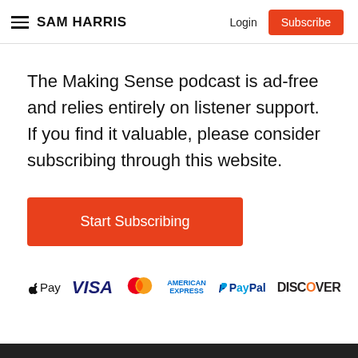SAM HARRIS  Login  Subscribe
The Making Sense podcast is ad-free and relies entirely on listener support. If you find it valuable, please consider subscribing through this website.
[Figure (other): Orange 'Start Subscribing' button]
[Figure (other): Payment method logos: Apple Pay, VISA, Mastercard, American Express, PayPal, Discover]